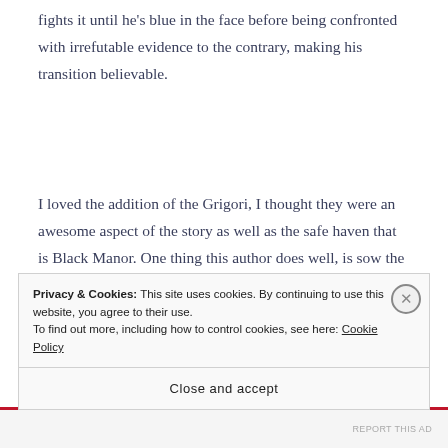fights it until he's blue in the face before being confronted with irrefutable evidence to the contrary, making his transition believable.
I loved the addition of the Grigori, I thought they were an awesome aspect of the story as well as the safe haven that is Black Manor. One thing this author does well, is sow the seeds of doubt with certain characters. I actually felt how Harry must have, I
Privacy & Cookies: This site uses cookies. By continuing to use this website, you agree to their use.
To find out more, including how to control cookies, see here: Cookie Policy
Close and accept